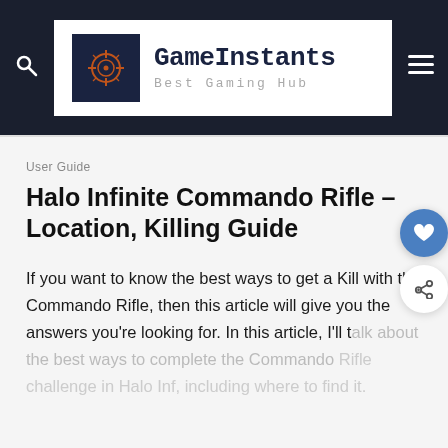GameInstants — Best Gaming Hub
User Guide
Halo Infinite Commando Rifle – Location, Killing Guide
If you want to know the best ways to get a Kill with the Commando Rifle, then this article will give you the answers you're looking for. In this article, I'll talk about the best ways to complete the Commando Rifle challenge in Halo Inf, including where to find it.